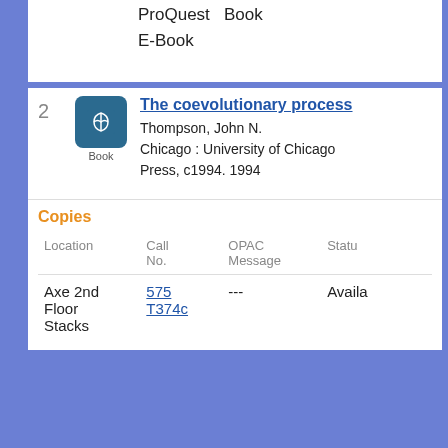ProQuest  Book E-Book
2  The coevolutionary process
Thompson, John N.
Chicago : University of Chicago Press, c1994. 1994
| Location | Call No. | OPAC Message | Status |
| --- | --- | --- | --- |
| Axe 2nd Floor Stacks | 575 T374c | --- | Available |
3  The coevolutionary process
Thompson, John N.
Chicago : University of Chicago Press, c1994. 1994
Website